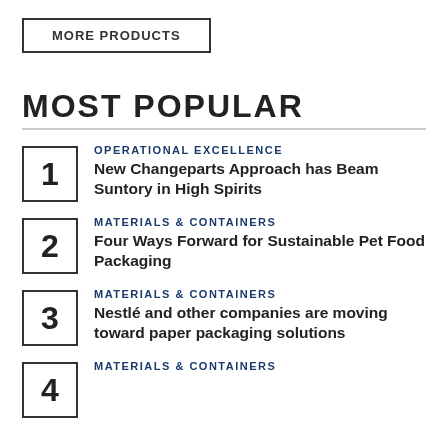MORE PRODUCTS
MOST POPULAR
OPERATIONAL EXCELLENCE
New Changeparts Approach has Beam Suntory in High Spirits
MATERIALS & CONTAINERS
Four Ways Forward for Sustainable Pet Food Packaging
MATERIALS & CONTAINERS
Nestlé and other companies are moving toward paper packaging solutions
MATERIALS & CONTAINERS